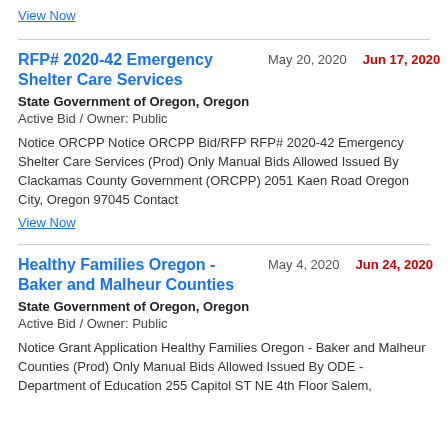View Now
RFP# 2020-42 Emergency Shelter Care Services   May 20, 2020   Jun 17, 2020
State Government of Oregon, Oregon
Active Bid / Owner: Public
Notice ORCPP Notice ORCPP Bid/RFP RFP# 2020-42 Emergency Shelter Care Services (Prod) Only Manual Bids Allowed Issued By Clackamas County Government (ORCPP) 2051 Kaen Road Oregon City, Oregon 97045 Contact
View Now
Healthy Families Oregon - Baker and Malheur Counties   May 4, 2020   Jun 24, 2020
State Government of Oregon, Oregon
Active Bid / Owner: Public
Notice Grant Application Healthy Families Oregon - Baker and Malheur Counties (Prod) Only Manual Bids Allowed Issued By ODE - Department of Education 255 Capitol ST NE 4th Floor Salem,